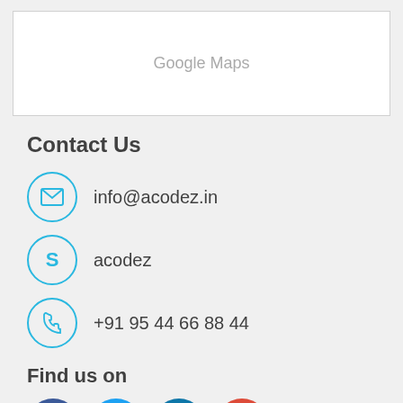[Figure (screenshot): Google Maps placeholder area with gray text 'Google Maps' centered in white box]
Contact Us
info@acodez.in
acodez
+91 95 44 66 88 44
Find us on
[Figure (illustration): Social media icons: Facebook, Twitter, LinkedIn, Google+]
Newsletter
[Figure (screenshot): Newsletter email input field with blue submit button]